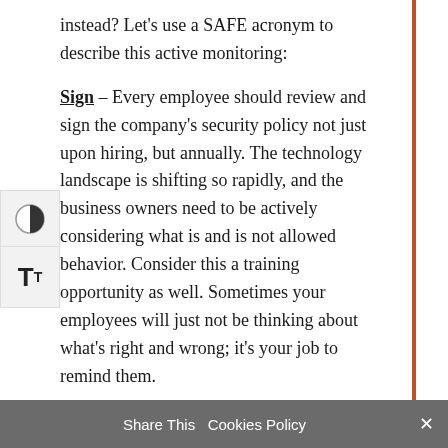instead? Let's use a SAFE acronym to describe this active monitoring:
Sign – Every employee should review and sign the company's security policy not just upon hiring, but annually. The technology landscape is shifting so rapidly, and the business owners need to be actively considering what is and is not allowed behavior. Consider this a training opportunity as well. Sometimes your employees will just not be thinking about what's right and wrong; it's your job to remind them.
Allowed Behavior – The firm should have a robust and clearly communicated set of security policies that include things like confidentiality of data, the firm's right to access all data... theft
Share This Cookies Policy ×